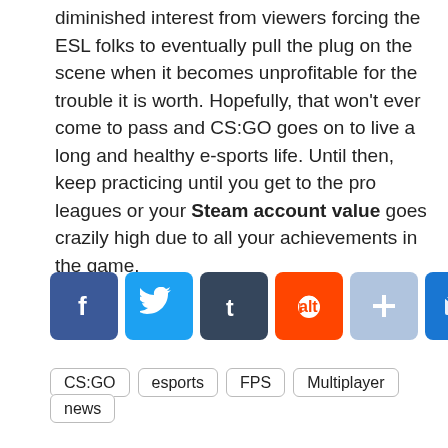diminished interest from viewers forcing the ESL folks to eventually pull the plug on the scene when it becomes unprofitable for the trouble it is worth. Hopefully, that won't ever come to pass and CS:GO goes on to live a long and healthy e-sports life. Until then, keep practicing until you get to the pro leagues or your Steam account value goes crazily high due to all your achievements in the game.
[Figure (infographic): Social share buttons row: Facebook (blue), Twitter (blue), Tumblr (dark blue-gray), Reddit (orange), Add/Plus (light blue-gray), Email (blue), Share (blue)]
CS:GO
esports
FPS
Multiplayer
news
online game
opinion
overview
Overwatch
Steam account
steam account value
Leave a comment
[Figure (infographic): Second social share buttons row (smaller): Facebook, Twitter, Tumblr, Reddit, Plus, Email, Share]
Steam Account Drama: